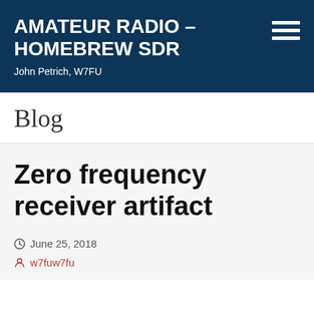AMATEUR RADIO - HOMEBREW SDR
John Petrich, W7FU
Blog
Zero frequency receiver artifact
June 25, 2018
w7fuw7fu